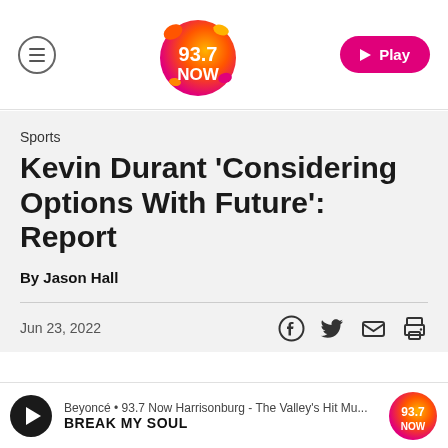93.7 NOW — Navigation and Play button
Sports
Kevin Durant 'Considering Options With Future': Report
By Jason Hall
Jun 23, 2022
Beyoncé • 93.7 Now Harrisonburg - The Valley's Hit Mu... BREAK MY SOUL